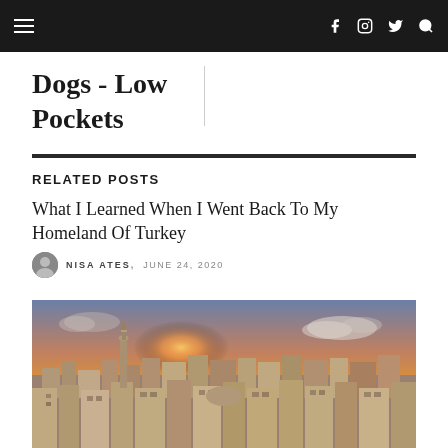≡   f  ◎  𝕏  🔍
Dogs - Low Pockets
RELATED POSTS
What I Learned When I Went Back To My Homeland Of Turkey
NISA ATES, JUNE 24, 2020
[Figure (photo): Aerial view of Mardin, Turkey at sunset showing historical stone buildings, a minaret tower, and dramatic sky with orange and purple hues.]